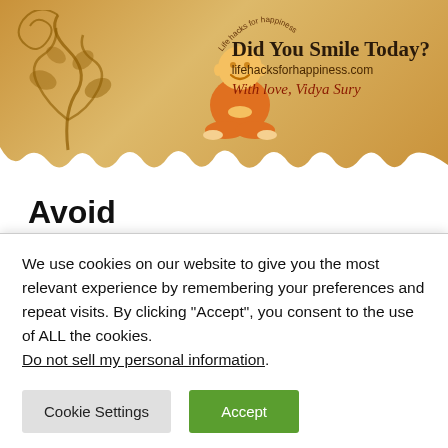[Figure (logo): Life Hacks for Happiness banner with decorative swirl, meditating monk illustration, circular text 'Life hacks for happiness', brand text 'Did You Smile Today?', URL 'lifehacksforhappiness.com', and 'With love, Vidya Sury' on a tan/golden background with torn edges]
Avoid
Avoid blaming yourself or others. Just find the best way forward.
We use cookies on our website to give you the most relevant experience by remembering your preferences and repeat visits. By clicking “Accept”, you consent to the use of ALL the cookies.
Do not sell my personal information.